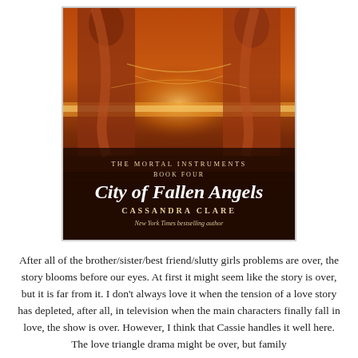[Figure (illustration): Book cover of 'City of Fallen Angels' by Cassandra Clare. The Mortal Instruments Book Four. Shows figures standing in a fiery, dramatic orange-red background. Text on cover: 'THE MORTAL INSTRUMENTS BOOK FOUR', 'City of Fallen Angels', 'CASSANDRA CLARE', 'New York Times bestselling author'.]
After all of the brother/sister/best friend/slutty girls problems are over, the story blooms before our eyes. At first it might seem like the story is over, but it is far from it. I don't always love it when the tension of a love story has depleted, after all, in television when the main characters finally fall in love, the show is over. However, I think that Cassie handles it well here. The love triangle drama might be over, but family